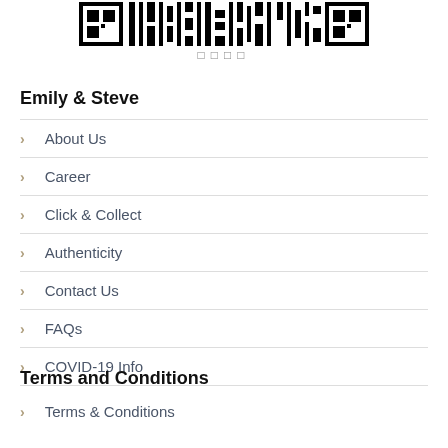[Figure (logo): Black and white barcode/logo image at top of page]
□□□□
Emily & Steve
About Us
Career
Click & Collect
Authenticity
Contact Us
FAQs
COVID-19 Info
Terms and Conditions
Terms & Conditions